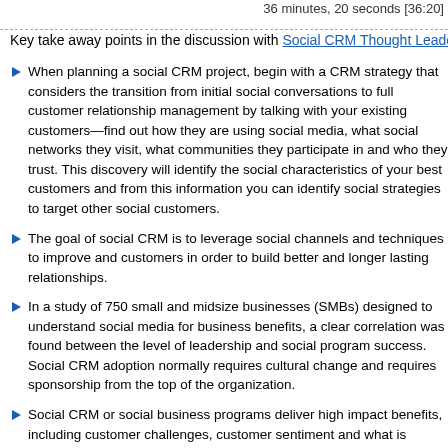36 minutes, 20 seconds [36:20]
Key take away points in the discussion with Social CRM Thought Leader Bre...
When planning a social CRM project, begin with a CRM strategy that considers the transition from initial social conversations to full customer relationship management by talking with your existing customers—find out how they are using social media, what social networks they visit, what communities they participate in and who they trust. This discovery will identify the social characteristics of your best customers and from this information you can identify social strategies to target other social customers.
The goal of social CRM is to leverage social channels and techniques to improve and customers in order to build better and longer lasting relationships.
In a study of 750 small and midsize businesses (SMBs) designed to understand social media for business benefits, a clear correlation was found between the level of leadership and social program success. Social CRM adoption normally requires cultural change and requires sponsorship from the top of the organization.
Social CRM or social business programs deliver high impact benefits, including understanding customer challenges, customer sentiment and what is important to your prospects. For this understanding, use social media tools not just as another channel to push messages but as a channel to retrieve customer feedback that can be used develop insight about customers. Leveraging social data and social profiles permits companies to hone their message to the right time and the right location, and better connect with customers.
Companies are turning to social CRM in part as a response to a lethargic economy. In a challenged and uncertain economic climate, companies have tight budgets for customer acquisition methods. Many businesses are turning to social CRM...